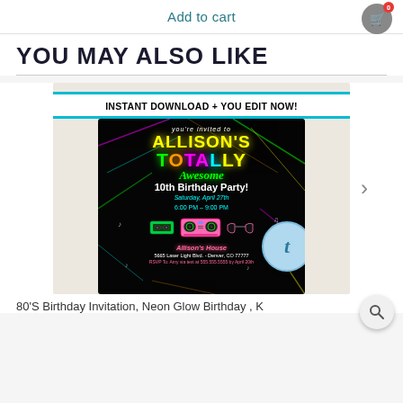Add to cart
YOU MAY ALSO LIKE
[Figure (illustration): Product listing image showing a neon glow 80s birthday party invitation for Allison's Totally Awesome 10th Birthday Party, with INSTANT DOWNLOAD + YOU EDIT NOW banner, boombox, cassette tape, sunglasses, and Templett badge overlay]
80'S Birthday Invitation, Neon Glow Birthday , K